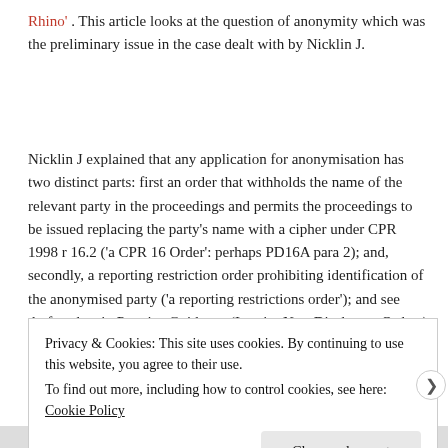Rhino' . This article looks at the question of anonymity which was the preliminary issue in the case dealt with by Nicklin J.
Nicklin J explained that any application for anonymisation has two distinct parts: first an order that withholds the name of the relevant party in the proceedings and permits the proceedings to be issued replacing the party's name with a cipher under CPR 1998 r 16.2 ('a CPR 16 Order': perhaps PD16A para 2); and, secondly, a reporting restriction order prohibiting identification of the anonymised party ('a reporting restrictions order'); and see draft orders in Practice Guidance (Interim Non-Disclosure Orders) of 1 August 2011 [2012]
Privacy & Cookies: This site uses cookies. By continuing to use this website, you agree to their use.
To find out more, including how to control cookies, see here: Cookie Policy